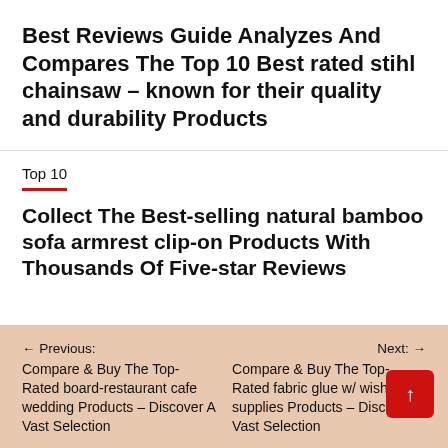Best Reviews Guide Analyzes And Compares The Top 10 Best rated stihl chainsaw – known for their quality and durability Products
Top 10
Collect The Best-selling natural bamboo sofa armrest clip-on Products With Thousands Of Five-star Reviews
← Previous:
Compare & Buy The Top-Rated board-restaurant cafe wedding Products – Discover A Vast Selection
Next: →
Compare & Buy The Top-Rated fabric glue w/ wish supplies Products – Discover A Vast Selection